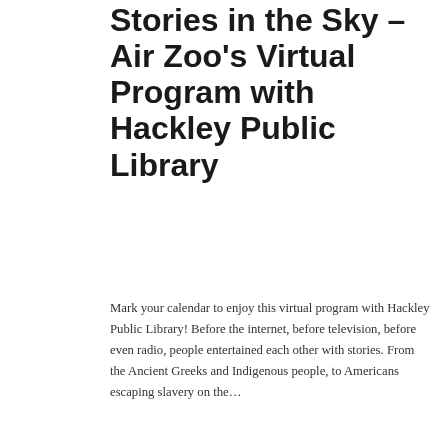Stories in the Sky - Air Zoo's Virtual Program with Hackley Public Library
Mark your calendar to enjoy this virtual program with Hackley Public Library! Before the internet, before television, before even radio, people entertained each other with stories. From the Ancient Greeks and Indigenous people, to Americans escaping slavery on the…
[Figure (illustration): Promotional image for Hackley Public Library Summer Reading 2020 'Imagine Your Story' program, showing collage of library photos and illustrated fantasy characters alongside the program logo.]
Imagine Your Story - 2020 Summer Reading…